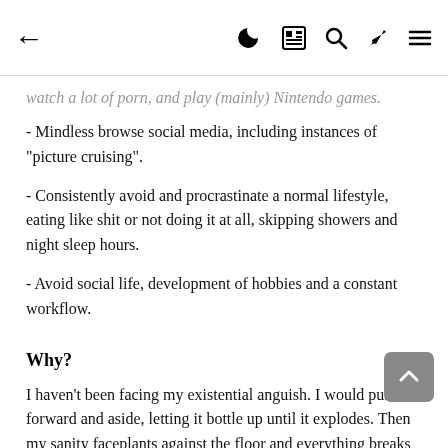← (navigation) (moon) (grid) (search) (brush) (menu)
watch a lot of porn, and play (mainly) Nintendo games.
- Mindless browse social media, including instances of "picture cruising".
- Consistently avoid and procrastinate a normal lifestyle, eating like shit or not doing it at all, skipping showers and night sleep hours.
- Avoid social life, development of hobbies and a constant workflow.
Why?
I haven't been facing my existential anguish. I would push it forward and aside, letting it bottle up until it explodes. Then my sanity faceplants against the floor and everything breaks down. I should compliment myself for being able to get up a thousand times, right? But still, this method is not effective at all. It's wearing me down.